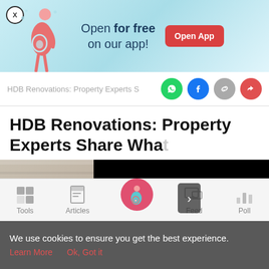[Figure (illustration): App promotion banner with pregnant figure illustration, text 'Open for free on our app!' and 'Open App' button]
HDB Renovations: Property Experts S
HDB Renovations: Property Experts Share Wha
[Figure (photo): Article header image, partially obscured by a black overlay with a navigation arrow button]
[Figure (infographic): Bottom navigation bar with Tools, Articles, Home (pregnant lady icon), Feed, Poll icons]
We use cookies to ensure you get the best experience.
Learn More   Ok, Got it